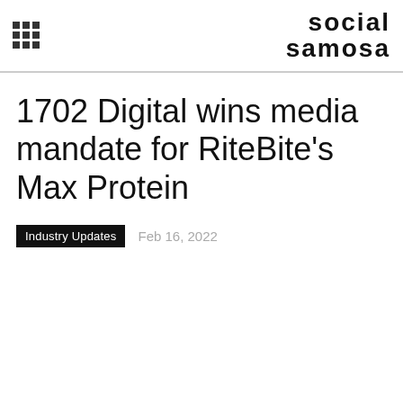social samosa
1702 Digital wins media mandate for RiteBite's Max Protein
Industry Updates   Feb 16, 2022